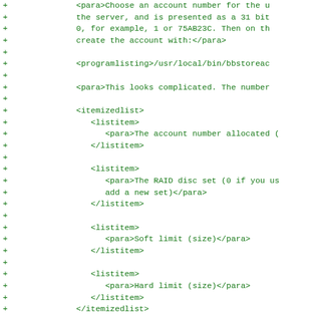+ <para>Choose an account number for the ...
+ the server, and is presented as a 31 bit
+ 0, for example, 1 or 75AB23C. Then on th
+ create the account with:</para>
+
+ <programlisting>/usr/local/bin/bbstoreac
+
+ <para>This looks complicated. The number
+
+ <itemizedlist>
+    <listitem>
+       <para>The account number allocated (
+    </listitem>
+
+    <listitem>
+       <para>The RAID disc set (0 if you us
+       add a new set)</para>
+    </listitem>
+
+    <listitem>
+       <para>Soft limit (size)</para>
+    </listitem>
+
+    <listitem>
+       <para>Hard limit (size)</para>
+    </listitem>
+ </itemizedlist>
+
+ <para>The sizes are are specified in Mb,
+ the suffix. 1M specifies 1 Mb, 1G specif